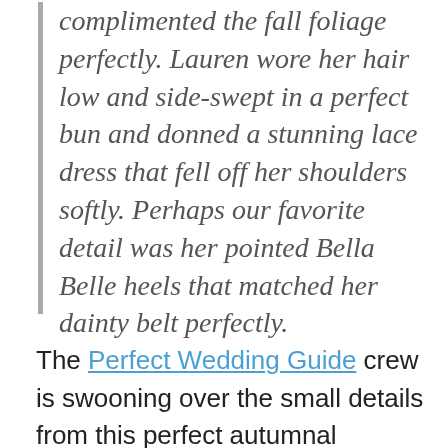complimented the fall foliage perfectly. Lauren wore her hair low and side-swept in a perfect bun and donned a stunning lace dress that fell off her shoulders softly. Perhaps our favorite detail was her pointed Bella Belle heels that matched her dainty belt perfectly.
The Perfect Wedding Guide crew is swooning over the small details from this perfect autumnal wedding. The rose gold